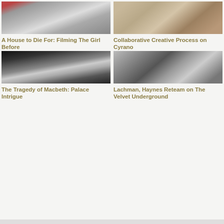[Figure (photo): A person standing in a large corridor with graffiti reading CAVE on the wall, moody cinematic scene in color]
A House to Die For: Filming The Girl Before
[Figure (photo): Two costumed figures on stone steps, one in a grey cloak and one in red, period costume drama scene]
Collaborative Creative Process on Cyrano
[Figure (photo): Dark silhouetted figure in a corridor with arches, dramatic black and white cinematic scene]
The Tragedy of Macbeth: Palace Intrigue
[Figure (photo): Black and white photo of a woman in the foreground and a man playing guitar in the background]
Lachman, Haynes Reteam on The Velvet Underground